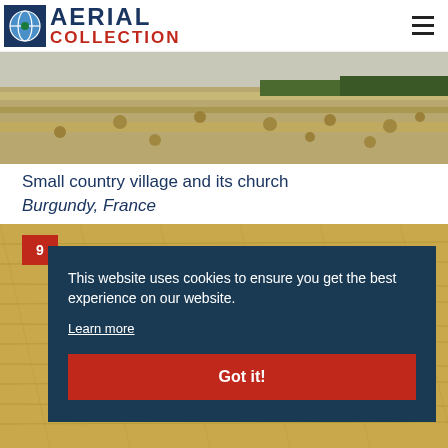[Figure (logo): Aerial Collection logo with globe icon and text AERIAL COLLECTION in blue and red]
[Figure (photo): Aerial view of a harvested field with round hay bales scattered across it, trees on the horizon]
Small country village and its church
Burgundy, France
[Figure (photo): Close-up aerial photo of a textured field, golden/brown tones]
This website uses cookies to ensure you get the best experience on our website.
Learn more
Got it!